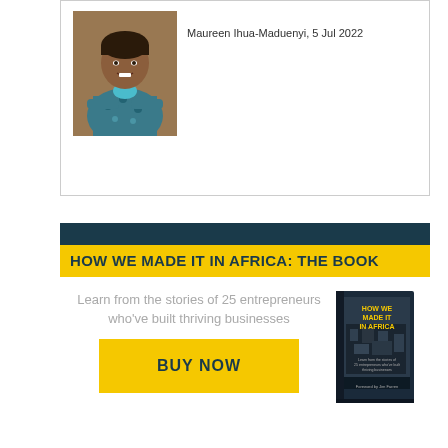[Figure (photo): Author photo: woman in blue patterned jacket with arms crossed, smiling]
Maureen Ihua-Maduenyi, 5 Jul 2022
[Figure (infographic): Book advertisement banner: 'HOW WE MADE IT IN AFRICA: THE BOOK' with tagline 'Learn from the stories of 25 entrepreneurs who've built thriving businesses', a BUY NOW button, and an image of the book cover]
Learn from the stories of 25 entrepreneurs who've built thriving businesses
BUY NOW